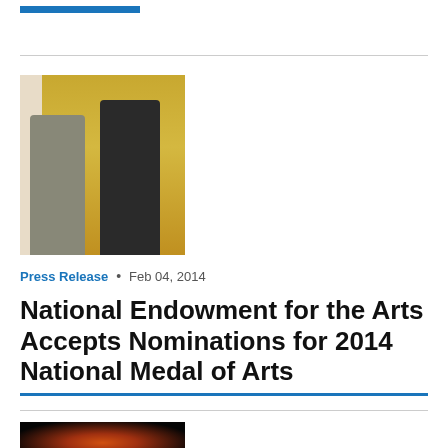arts.gov
[Figure (photo): Two people at a medal ceremony, one person placing a medal on another, in front of gold curtains and white columns]
Press Release  •  Feb 04, 2014
National Endowment for the Arts Accepts Nominations for 2014 National Medal of Arts
[Figure (photo): Partial photo at bottom of page, dark background with orange/amber light]